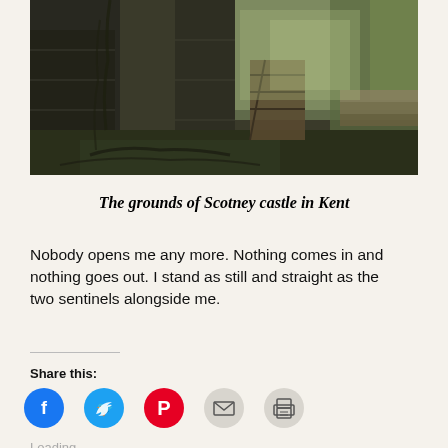[Figure (photo): Photograph of the grounds of Scotney castle in Kent, showing stone walls with climbing vines, a wooden gate, stone steps, and trees in the background with dappled light.]
The grounds of Scotney castle in Kent
Nobody opens me any more. Nothing comes in and nothing goes out. I stand as still and straight as the two sentinels alongside me.
Share this:
Loading…